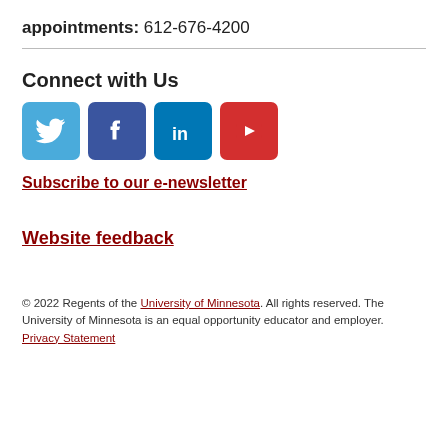appointments: 612-676-4200
[Figure (infographic): Social media icons row: Twitter (blue bird), Facebook (blue F), LinkedIn (blue in), YouTube (red play button)]
Connect with Us
Subscribe to our e-newsletter
Website feedback
© 2022 Regents of the University of Minnesota. All rights reserved. The University of Minnesota is an equal opportunity educator and employer. Privacy Statement